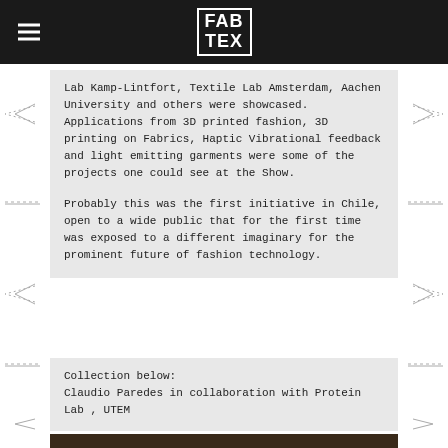FAB TEX
Lab Kamp-Lintfort, Textile Lab Amsterdam, Aachen University and others were showcased. Applications from 3D printed fashion, 3D printing on Fabrics, Haptic Vibrational feedback and light emitting garments were some of the projects one could see at the Show.

Probably this was the first initiative in Chile, open to a wide public that for the first time was exposed to a different imaginary for the prominent future of fashion technology.
Collection below:
Claudio Paredes in collaboration with Protein Lab , UTEM